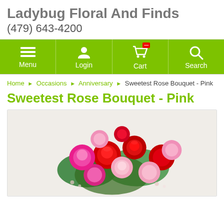Ladybug Floral And Finds
(479) 643-4200
[Figure (screenshot): Green navigation bar with Menu, Login, Cart, and Search icons in white]
Home ▸ Occasions ▸ Anniversary ▸ Sweetest Rose Bouquet - Pink
Sweetest Rose Bouquet - Pink
[Figure (photo): A lush bouquet of pink, hot pink, and red roses with green foliage against a light background]